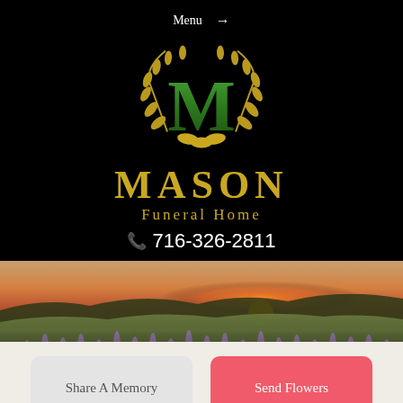Menu →
[Figure (logo): Mason Funeral Home logo: large green letter M with gold laurel wreath emblem, gold text MASON, Funeral Home, phone number 716-326-2811 on black background]
[Figure (photo): Scenic landscape at sunset with rolling hills, green fields, wildflowers (purple lupines) in foreground, orange/red sunset on horizon]
Share A Memory
Send Flowers